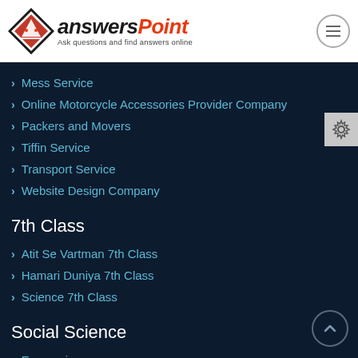[Figure (logo): AnswersPoint logo with diamond icon and tagline 'Ask questions and find answers online']
Mess Service
Online Motorcycle Accessories Provider Company
Packers and Movers
Tiffin Service
Transport Service
Website Design Company
7th Class
Atit Se Vartman 7th Class
Hamari Duniya 7th Class
Science 7th Class
Social Science
Economics